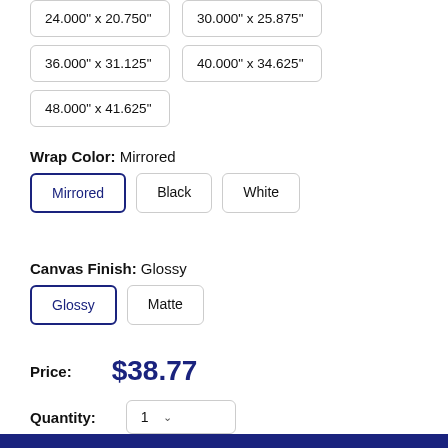24.000" x 20.750"
30.000" x 25.875"
36.000" x 31.125"
40.000" x 34.625"
48.000" x 41.625"
Wrap Color:  Mirrored
Mirrored
Black
White
Canvas Finish:  Glossy
Glossy
Matte
Price:  $38.77
Quantity:  1